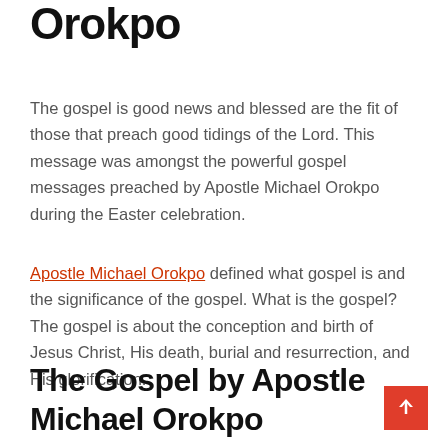Orokpo
The gospel is good news and blessed are the fit of those that preach good tidings of the Lord. This message was amongst the powerful gospel messages preached by Apostle Michael Orokpo during the Easter celebration.
Apostle Michael Orokpo defined what gospel is and the significance of the gospel. What is the gospel? The gospel is about the conception and birth of Jesus Christ, His death, burial and resurrection, and His glorification.
The Gospel by Apostle Michael Orokpo